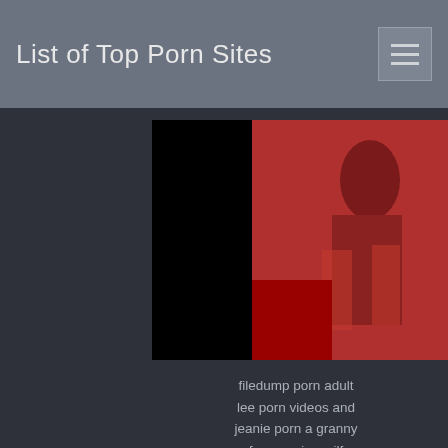List of Top Porn Sites
[Figure (photo): Partially visible photo on the right side, split with a black rectangle on the left portion]
filedump porn adult lee porn videos and jeanie porn a granny free movies milf
Permalink (Gif Version)
Teen Teases, Wedgies
[Figure (photo): Woman with long dark hair taking a selfie, partially cropped on the right side]